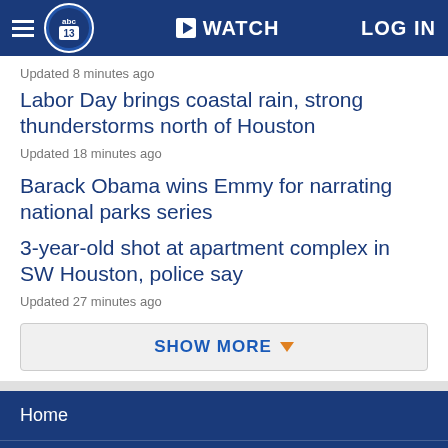abc13 | WATCH | LOG IN
Updated 8 minutes ago
Labor Day brings coastal rain, strong thunderstorms north of Houston
Updated 18 minutes ago
Barack Obama wins Emmy for narrating national parks series
3-year-old shot at apartment complex in SW Houston, police say
Updated 27 minutes ago
SHOW MORE
Home
AccuWeather
Traffic
Local News